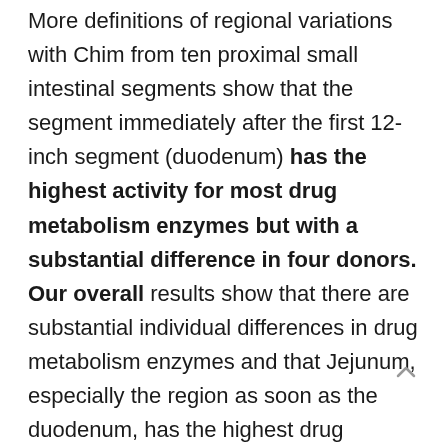More definitions of regional variations with Chim from ten proximal small intestinal segments show that the segment immediately after the first 12-inch segment (duodenum) has the highest activity for most drug metabolism enzymes but with a substantial difference in four donors. Our overall results show that there are substantial individual differences in drug metabolism enzymes and that Jejunum, especially the region as soon as the duodenum, has the highest drug metabolic enzyme activity.
The effects of leukocyte